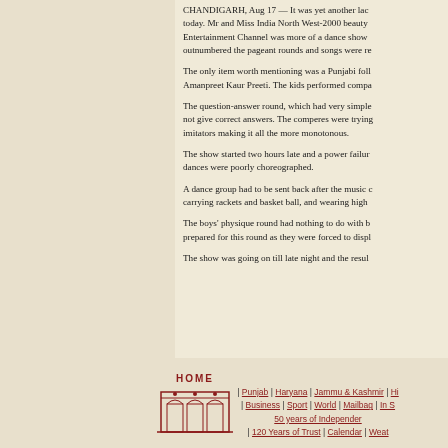CHANDIGARH, Aug 17 — It was yet another lackluster show held today. Mr and Miss India North West-2000 beauty pageant on Entertainment Channel was more of a dance show as dances outnumbered the pageant rounds and songs were re...
The only item worth mentioning was a Punjabi folk dance by Amanpreet Kaur Preeti. The kids performed compa...
The question-answer round, which had very simple... not give correct answers. The comperes were trying... imitators making it all the more monotonous.
The show started two hours late and a power failur... dances were poorly choreographed.
A dance group had to be sent back after the music c... carrying rackets and basket ball, and wearing high...
The boys' physique round had nothing to do with b... prepared for this round as they were forced to displ...
The show was going on till late night and the resul...
[Figure (logo): HOME text above an illustrated building/gate icon in dark red]
| Punjab | Haryana | Jammu & Kashmir | Hi... | Business | Sport | World | Mailbag | In S... 50 years of Independer... | 120 Years of Trust | Calendar | Weat...